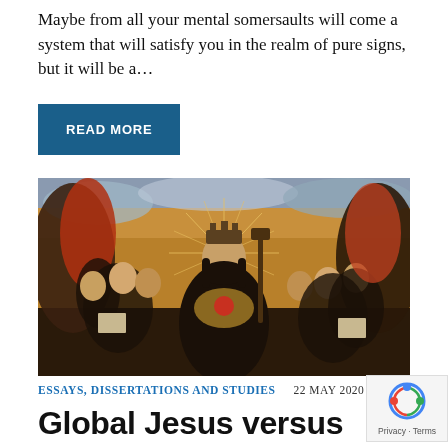Maybe from all your mental somersaults will come a system that will satisfy you in the realm of pure signs, but it will be a...
READ MORE
[Figure (photo): Medieval religious painting showing Christ enthroned with a crown, holding an orb and scepter, surrounded by singing angels holding books]
ESSAYS, DISSERTATIONS AND STUDIES   22 MAY 2020
Global Jesus versus